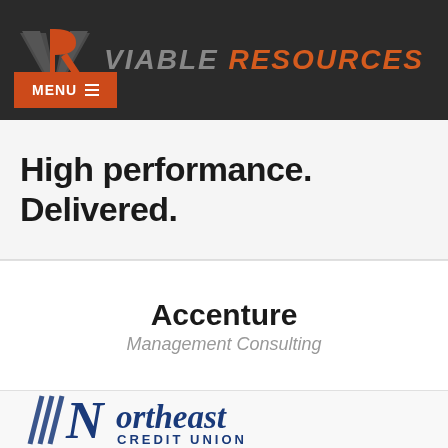[Figure (logo): Viable Resources logo with VR chevron icon and text 'VIABLE RESOURCES' in grey and orange italic, with orange MENU button below]
High performance. Delivered.
Accenture
Management Consulting
[Figure (logo): Northeast Credit Union logo in dark blue with stylized N and diagonal lines]